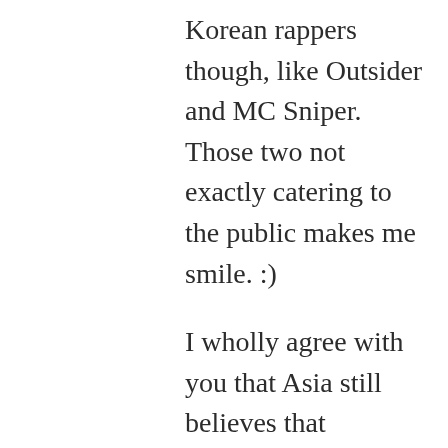Korean rappers though, like Outsider and MC Sniper. Those two not exactly catering to the public makes me smile. :)
I wholly agree with you that Asia still believes that following America is the “cool” thing to do these days, and it makes me sad